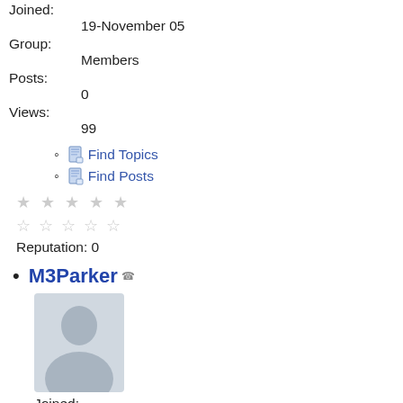Joined:
19-November 05
Group:
Members
Posts:
0
Views:
99
Find Topics
Find Posts
★★★★★ (0 stars)
Reputation: 0
M3Parker
[Figure (illustration): Default user avatar - silhouette of a person in grey]
Joined:
15-November 05
Group:
Members